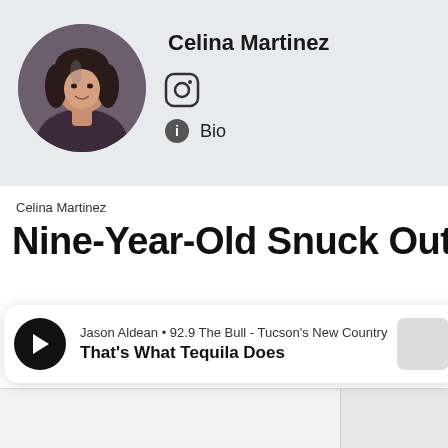[Figure (photo): Circular profile photo of a young woman with long dark hair, smiling, against a dark background]
Celina Martinez
[Figure (logo): Instagram logo icon (camera outline)]
Bio
Celina Martinez
Nine-Year-Old Snuck Out of
[Figure (screenshot): Media player bar showing: Jason Aldean • 92.9 The Bull - Tucson's New Country / That's What Tequila Does, with play button and album art thumbnail]